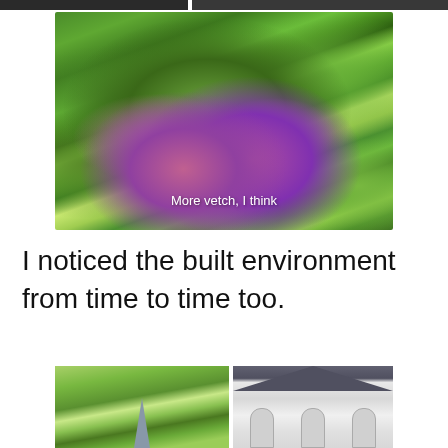[Figure (photo): Two small photos partially visible at the top edge of the page (cropped)]
[Figure (photo): Close-up photo of purple vetch flowers among green grass and leaves, with white caption text overlay reading 'More vetch, I think']
I noticed the built environment from time to time too.
[Figure (photo): Photo of a church spire among trees on the left]
[Figure (photo): Photo of a white building with arched windows and decorated gable roof on the right]